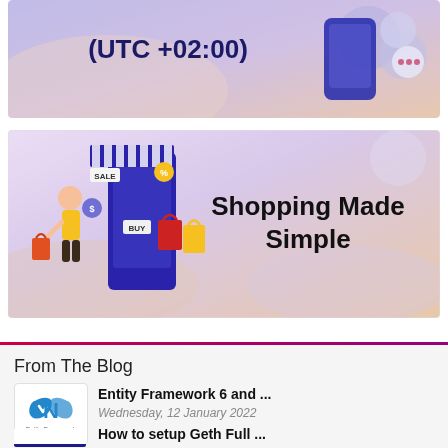[Figure (illustration): Top banner with text '(UTC +02:00)' and decorative phone/bubble graphics on a purple-peach gradient background]
[Figure (illustration): Shopping banner with illustration of a woman shopping at a mobile store with sale signs and shopping bags, text 'Shopping Made Simple' on right side, purple-peach gradient background]
From The Blog
[Figure (logo): Entity Framework Code First logo with blue curved N symbol]
Entity Framework 6 and ...
Wednesday, 12 January 2022
How to setup Geth Full ...